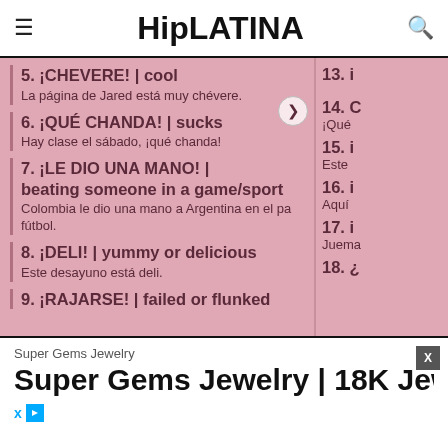HipLATINA
5. ¡CHEVERE! | cool
La página de Jared está muy chévere.
6. ¡QUÉ CHANDA! | sucks
Hay clase el sábado, ¡qué chanda!
7. ¡LE DIO UNA MANO! | beating someone in a game/sport
Colombia le dio una mano a Argentina en el pa fútbol.
8. ¡DELI! | yummy or delicious
Este desayuno está deli.
9. ¡RAJARSE! | failed or flunked
13. i
14. C
iQué
15. i
Este
16. i
Aquí
17. i
Juema
18. ¿
Super Gems Jewelry
Super Gems Jewelry | 18K Jew